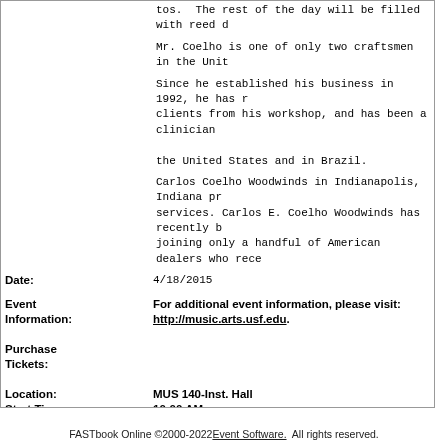tos.  The rest of the day will be filled with reed d
Mr. Coelho is one of only two craftsmen in the Unit
Since he established his business in 1992, he has r clients from his workshop, and has been a clinician the United States and in Brazil.
Carlos Coelho Woodwinds in Indianapolis, Indiana pr services. Carlos E. Coelho Woodwinds has recently b joining only a handful of American dealers who rece
Date: 4/18/2015
Event Information: For additional event information, please visit: http://music.arts.usf.edu.
Purchase Tickets:
Location: MUS 140-Inst. Hall
Start Time: 10:00 AM
End Time: 5:00 PM
Location: MUS 116-Piano Class
Start Time:
End Time:
FASTbook Online ©2000-2022 Event Software. All rights reserved.